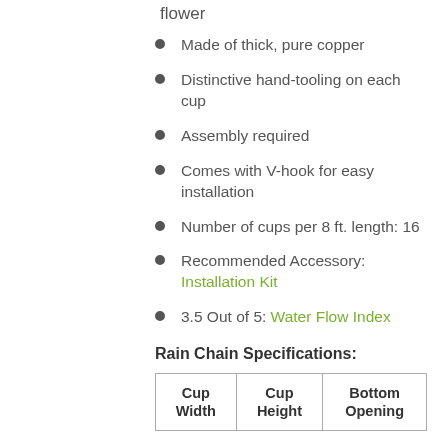flower
Made of thick, pure copper
Distinctive hand-tooling on each cup
Assembly required
Comes with V-hook for easy installation
Number of cups per 8 ft. length: 16
Recommended Accessory: Installation Kit
3.5 Out of 5: Water Flow Index
Rain Chain Specifications:
| Cup Width | Cup Height | Bottom Opening |
| --- | --- | --- |